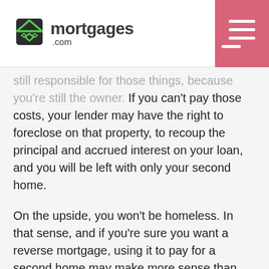mortgages.com
still responsible for those things, because you're still the owner. If you can't pay those costs, your lender may have the right to foreclose on that property, to recoup the principal and accrued interest on your loan, and you will be left with only your second home.
On the upside, you won't be homeless. In that sense, and if you're sure you want a reverse mortgage, using it to pay for a second home may make more sense than spending the proceeds on other living expenses.
Do you have other options?
The interest rates on reverse mortgages are likely to be higher than those on home equity lines of credit or even another primary mortgage to pay for a second home.
Discuss your options with a lender and see what other loans